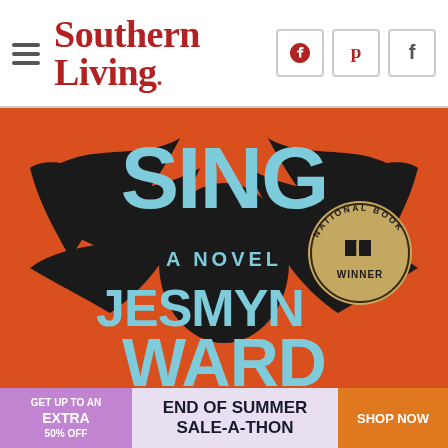Southern Living
[Figure (photo): Book cover of 'Sing, Unburied, Sing: A Novel' by Jesmyn Ward, showing large light blue text on an orange background with a black bird/raven spreading wings. Features National Book Award Winner medallion in gold/tan on the cover.]
GET UP TO AN EXTRA 50% OFF  END OF SUMMER SALE-A-THON  SHOP NOW